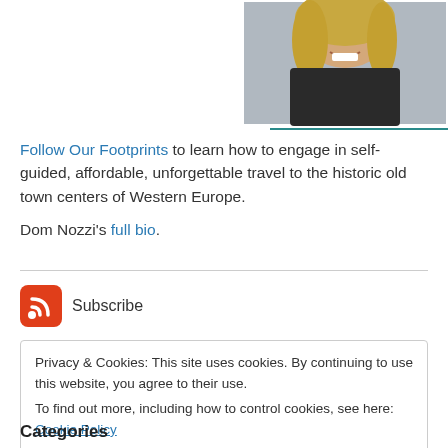[Figure (photo): Partial photo of a smiling woman with long blonde hair, wearing a dark jacket, with a teal and green background graphic]
Follow Our Footprints to learn how to engage in self-guided, affordable, unforgettable travel to the historic old town centers of Western Europe.
Dom Nozzi's full bio.
[Figure (logo): RSS feed icon - red rounded square with white RSS signal symbol]
Subscribe
Privacy & Cookies: This site uses cookies. By continuing to use this website, you agree to their use.
To find out more, including how to control cookies, see here: Cookie Policy
Close and accept
Categories